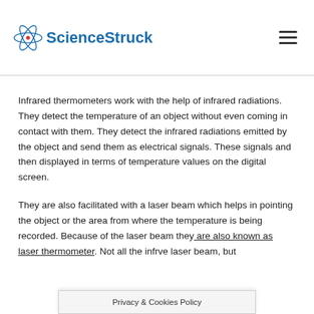ScienceStruck
Infrared thermometers work with the help of infrared radiations. They detect the temperature of an object without even coming in contact with them. They detect the infrared radiations emitted by the object and send them as electrical signals. These signals and then displayed in terms of temperature values on the digital screen.
They are also facilitated with a laser beam which helps in pointing the object or the area from where the temperature is being recorded. Because of the laser beam they are also known as laser thermometer. Not all the infr... ve laser beam, but
Privacy & Cookies Policy